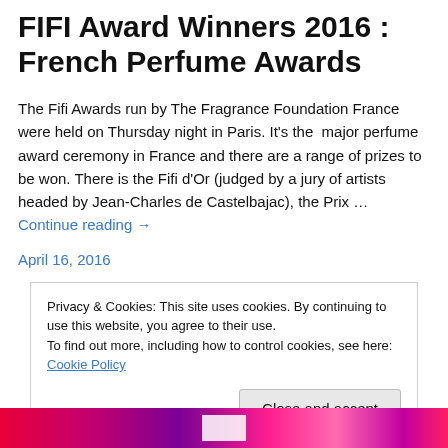FIFI Award Winners 2016 : French Perfume Awards
The Fifi Awards run by The Fragrance Foundation France were held on Thursday night in Paris. It's the major perfume award ceremony in France and there are a range of prizes to be won. There is the Fifi d'Or (judged by a jury of artists headed by Jean-Charles de Castelbajac), the Prix … Continue reading →
April 16, 2016
Privacy & Cookies: This site uses cookies. By continuing to use this website, you agree to their use.
To find out more, including how to control cookies, see here: Cookie Policy
Close and accept
[Figure (photo): Colorful abstract background with pink, magenta, purple gradient colors and a small white rectangle overlay]